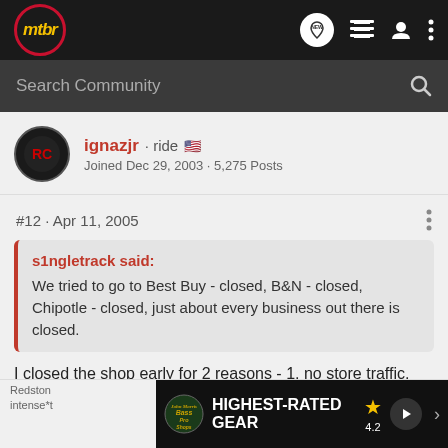mtbr NEW
Search Community
ignazjr · ride
Joined Dec 29, 2003 · 5,275 Posts
#12 · Apr 11, 2005
s1ngletrack said:
We tried to go to Best Buy - closed, B&N - closed, Chipotle - closed, just about every business out there is closed.
I closed the shop early for 2 reasons - 1, no store traffic, and 2, so I could ride (on dirt, no less)!
Redston
intense*t
[Figure (screenshot): Bass Pro Shops advertisement banner: HIGHEST-RATED GEAR, rating 4.2 stars, with product image and play button]